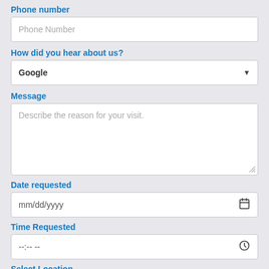Phone number
[Figure (screenshot): Phone Number text input field (empty, placeholder text shown)]
How did you hear about us?
[Figure (screenshot): Dropdown field with selected value 'Google']
Message
[Figure (screenshot): Textarea with placeholder text 'Describe the reason for your visit.']
Date requested
[Figure (screenshot): Date input field showing placeholder mm/dd/yyyy with calendar icon]
Time Requested
[Figure (screenshot): Time input field showing placeholder --:-- -- with clock icon]
Select Location
[Figure (screenshot): Dropdown field with selected value 'Downtown PHX (16th St & Roosevelt)']